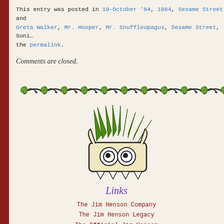This entry was posted in 10-October '84, 1984, Sesame Street and Greta Walker, Mr. Hooper, Mr. Snuffleupagus, Sesame Street, Soni... the permalink.
Comments are closed.
[Figure (illustration): Decorative green swirly vine/scroll border divider]
[Figure (illustration): Cartoon monster character with green spiky hair, horns, big googly eyes, and teeth at bottom]
Links
The Jim Henson Company
The Jim Henson Legacy
The Official Jim Henson Company Store